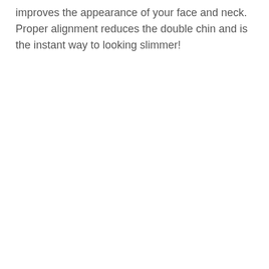improves the appearance of your face and neck. Proper alignment reduces the double chin and is the instant way to looking slimmer!